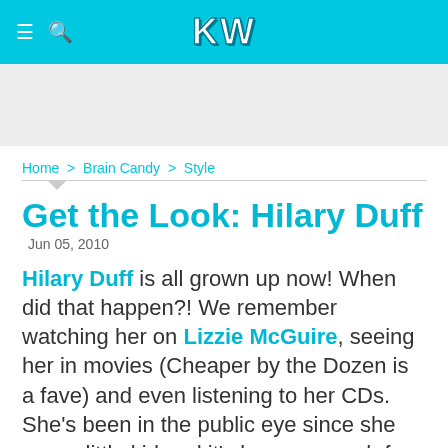KW
Home > Brain Candy > Style
Get the Look: Hilary Duff
Jun 05, 2010
Hilary Duff is all grown up now! When did that happen?! We remember watching her on Lizzie McGuire, seeing her in movies (Cheaper by the Dozen is a fave) and even listening to her CDs. She's been in the public eye since she was a little kid and it's been so much fun to see her style evolve over the